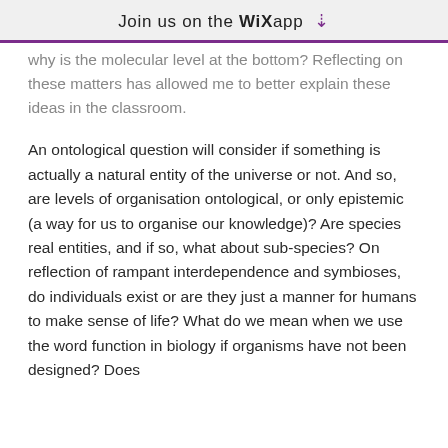Join us on the WiX app
why is the molecular level at the bottom? Reflecting on these matters has allowed me to better explain these ideas in the classroom.
An ontological question will consider if something is actually a natural entity of the universe or not. And so, are levels of organisation ontological, or only epistemic (a way for us to organise our knowledge)? Are species real entities, and if so, what about sub-species? On reflection of rampant interdependence and symbioses, do individuals exist or are they just a manner for humans to make sense of life? What do we mean when we use the word function in biology if organisms have not been designed? Does